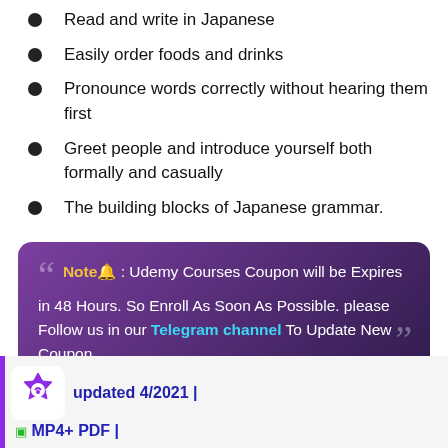Read and write in Japanese
Easily order foods and drinks
Pronounce words correctly without hearing them first
Greet people and introduce yourself both formally and casually
The building blocks of Japanese grammar.
Note🔔 : Udemy Courses Coupon will be Expires in 48 Hours. So Enroll As Soon As Possible. please Follow us in our Telegram channel To Update New Coupon
updated 4/2021 |
🟩 MP4+ PDF |